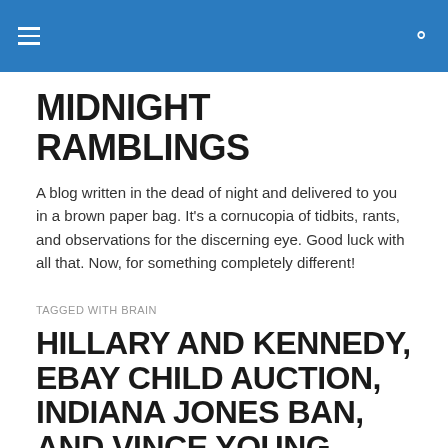MIDNIGHT RAMBLINGS — header bar with hamburger menu and search icon
MIDNIGHT RAMBLINGS
A blog written in the dead of night and delivered to you in a brown paper bag. It's a cornucopia of tidbits, rants, and observations for the discerning eye. Good luck with all that. Now, for something completely different!
TAGGED WITH BRAIN
HILLARY AND KENNEDY, EBAY CHILD AUCTION, INDIANA JONES BAN, AND VINCE YOUNG APOLOGY